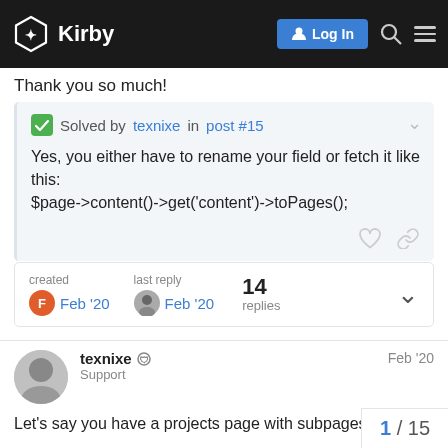Kirby — Log In
Thank you so much!
✅ Solved by texnixe in post #15
Yes, you either have to rename your field or fetch it like this: $page->content()->get('content')->toPages();
created
Feb '20
last reply
Feb '20
14 replies
texnixe 🛡 Support  Feb '20
Let's say you have a projects page with subpages

If you now create a new page with a struct
1 / 15